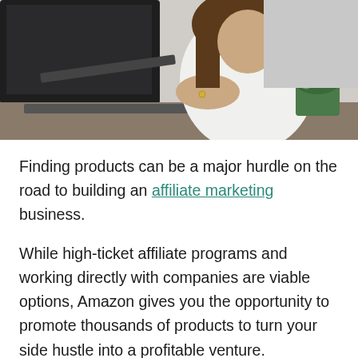[Figure (photo): A woman with long brown hair sitting at a desk in front of a laptop, wearing a white t-shirt, with a green potted succulent plant visible on the right side of the desk.]
Finding products can be a major hurdle on the road to building an affiliate marketing business.
While high-ticket affiliate programs and working directly with companies are viable options, Amazon gives you the opportunity to promote thousands of products to turn your side hustle into a profitable venture.